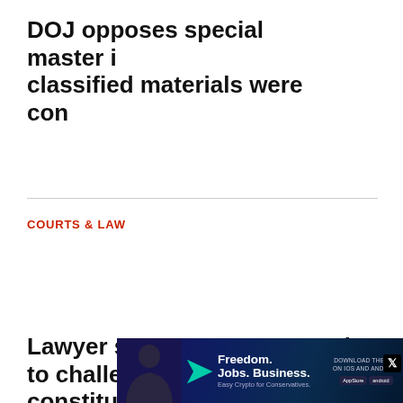DOJ opposes special master in classified materials were con
[Figure (screenshot): Black video player popup overlay with loading spinner (white curved arc) and X close button in top right corner]
COURTS & LAW
Lawyer suggests Trump ready to challenge constitu
[Figure (screenshot): Advertisement banner for Freedom Jobs Business Easy Crypto for Conservatives with person silhouette, teal arrow, and app store download buttons]